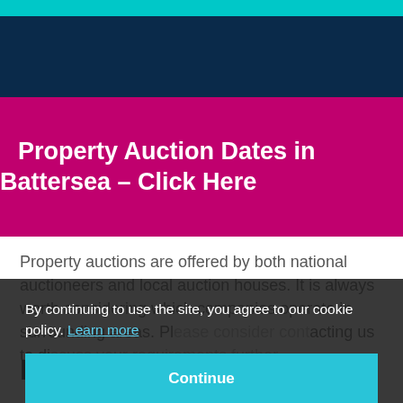[Figure (other): Teal top bar decorative stripe]
[Figure (other): Dark navy blue banner band]
Property Auction Dates in Battersea – Click Here
Property auctions are offered by both national auctioneers and local auction houses. It is always worth considering which companies operate in surrounding areas. Please consider contacting us to discuss your requirements further.
By continuing to use the site, you agree to our cookie policy. Learn more
Continue
Nearby London areas for property auctions